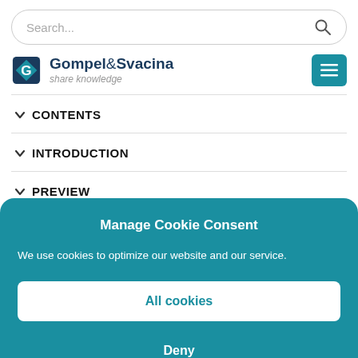[Figure (screenshot): Search bar with search icon on right]
[Figure (logo): Gompel&Svacina share knowledge logo with diamond G icon and teal hamburger menu button]
CONTENTS
INTRODUCTION
PREVIEW
Manage Cookie Consent
We use cookies to optimize our website and our service.
All cookies
Deny